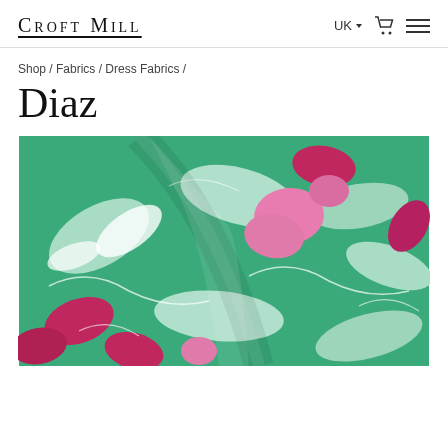Croft Mill | UK | [cart] [menu]
Shop / Fabrics / Dress Fabrics /
Diaz
[Figure (photo): Close-up photograph of a green fabric with floral pattern featuring mint/light-green leaf shapes, pink and magenta floral motifs, and white accents on a kelly green background. The fabric is folded and draped.]